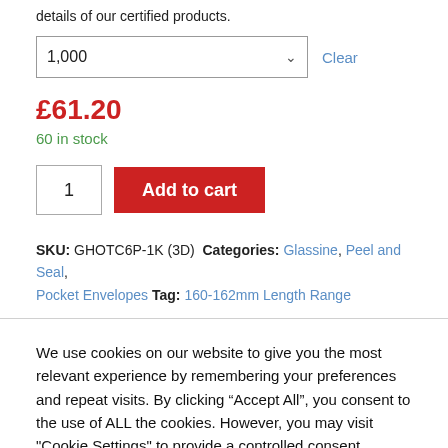details of our certified products.
1,000 [dropdown] Clear
£61.20
60 in stock
1 [quantity input] Add to cart [button]
SKU: GHOTC6P-1K (3D) Categories: Glassine, Peel and Seal, Pocket Envelopes Tag: 160-162mm Length Range
We use cookies on our website to give you the most relevant experience by remembering your preferences and repeat visits. By clicking "Accept All", you consent to the use of ALL the cookies. However, you may visit "Cookie Settings" to provide a controlled consent.
Cookie Settings | Accept All